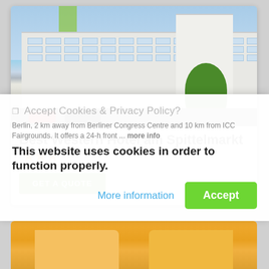[Figure (photo): Photo of Best Western Hotel am Spittelmarkt building exterior — large white multi-story hotel with grid of windows, green accent column, tree to the right, cars parked in front, blue sky background]
Best Western Hotel am Spittelmarkt ★★★
GET A QUOTE
❐ Accept Cookies & Privacy Policy?
Berlin, 2 km away from Berliner Congress Centre and 10 km from ICC Fairgrounds. It offers a 24-h front ... more info
This website uses cookies in order to function properly.
More information
Accept
[Figure (photo): Partial view of another hotel with yellow/orange exterior facade visible at the bottom of the screen]